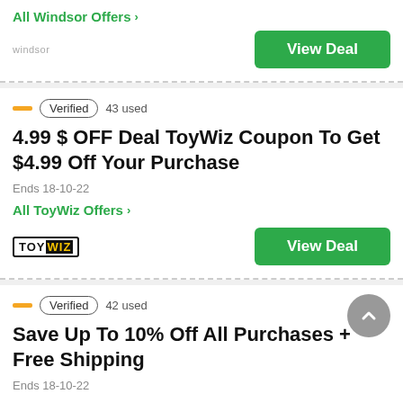All Windsor Offers >
[Figure (screenshot): Windsor logo text and View Deal green button]
Verified  43 used
4.99 $ OFF Deal ToyWiz Coupon To Get $4.99 Off Your Purchase
Ends 18-10-22
All ToyWiz Offers >
[Figure (logo): ToyWiz logo]
Verified  42 used
Save Up To 10% Off All Purchases + Free Shipping
Ends 18-10-22